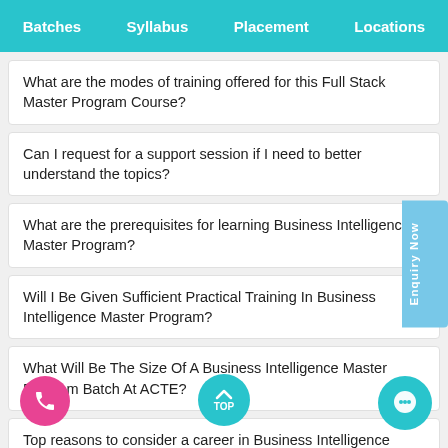Batches   Syllabus   Placement   Locations
What are the modes of training offered for this Full Stack Master Program Course?
Can I request for a support session if I need to better understand the topics?
What are the prerequisites for learning Business Intelligence Master Program?
Will I Be Given Sufficient Practical Training In Business Intelligence Master Program?
What Will Be The Size Of A Business Intelligence Master Program Batch At ACTE?
Top reasons to consider a career in Business Intelligence Master Program?
How Do I Enroll For The Business Intelligence